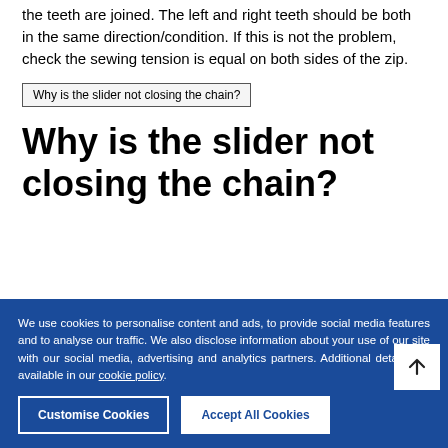the teeth are joined. The left and right teeth should be both in the same direction/condition. If this is not the problem, check the sewing tension is equal on both sides of the zip.
Why is the slider not closing the chain?
Why is the slider not closing the chain?
We use cookies to personalise content and ads, to provide social media features and to analyse our traffic. We also disclose information about your use of our site with our social media, advertising and analytics partners. Additional details are available in our cookie policy.